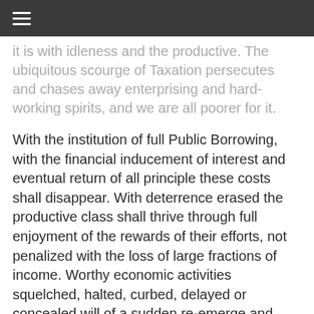≡
it is with idleness and the productive. The ubiquitous scourge of Taxation persecutes and chases away enterprising and hard-working spirits, and we are all poorer for it.
With the institution of full Public Borrowing, with the financial inducement of interest and eventual return of all principle these costs shall disappear. With deterrence erased the productive class shall thrive through full enjoyment of the rewards of their efforts, not penalized with the loss of large fractions of income. Worthy economic activities squelched, halted, curbed, delayed or concealed will of a sudden re-emerge and resume. Firms and people having sought tax refuge elsewhere will have every reason to return.
Generated by Feedzy